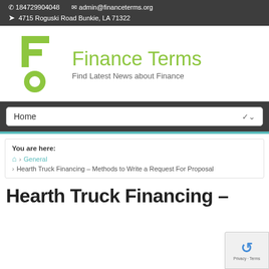184729904048  admin@financeterms.org  4715 Roguski Road Bunkie, LA 71322
[Figure (logo): Finance Terms website logo: green stylized key/F icon with 'Finance Terms' in green and tagline 'Find Latest News about Finance' in grey]
Home
You are here:
🏠 › General
› Hearth Truck Financing – Methods to Write a Request For Proposal
Hearth Truck Financing –